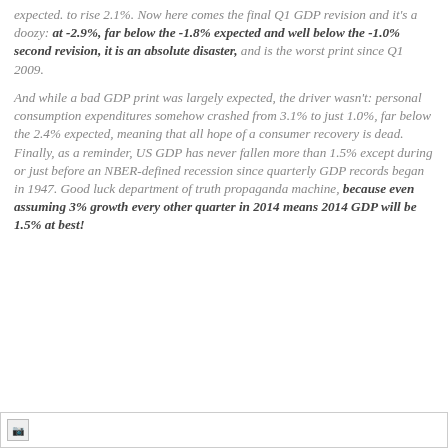expected. to rise 2.1%. Now here comes the final Q1 GDP revision and it's a doozy: at -2.9%, far below the -1.8% expected and well below the -1.0% second revision, it is an absolute disaster, and is the worst print since Q1 2009.
And while a bad GDP print was largely expected, the driver wasn't: personal consumption expenditures somehow crashed from 3.1% to just 1.0%, far below the 2.4% expected, meaning that all hope of a consumer recovery is dead. Finally, as a reminder, US GDP has never fallen more than 1.5% except during or just before an NBER-defined recession since quarterly GDP records began in 1947. Good luck department of truth propaganda machine, because even assuming 3% growth every other quarter in 2014 means 2014 GDP will be 1.5% at best!
[Figure (other): Broken image placeholder at bottom of page]